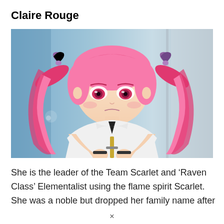Claire Rouge
[Figure (illustration): Anime illustration of Claire Rouge, a girl with long pink twin-tailed hair, pink eyes, wearing a white uniform, holding a sword handle close to her chest against a blurred blue-grey background.]
She is the leader of the Team Scarlet and ‘Raven Class’ Elementalist using the flame spirit Scarlet. She was a noble but dropped her family name after becoming a victim of the destruction of the
×